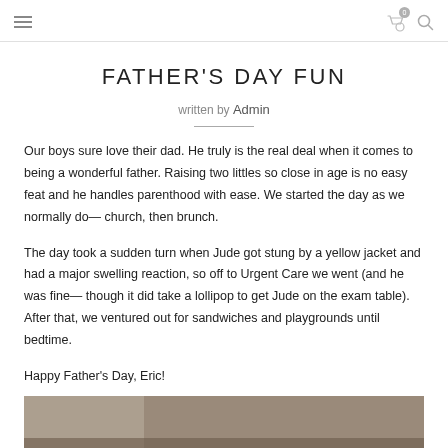FATHER'S DAY FUN
written by Admin
Our boys sure love their dad. He truly is the real deal when it comes to being a wonderful father. Raising two littles so close in age is no easy feat and he handles parenthood with ease. We started the day as we normally do— church, then brunch.
The day took a sudden turn when Jude got stung by a yellow jacket and had a major swelling reaction, so off to Urgent Care we went (and he was fine— though it did take a lollipop to get Jude on the exam table). After that, we ventured out for sandwiches and playgrounds until bedtime.
Happy Father's Day, Eric!
[Figure (photo): Bottom portion of a photo visible at the bottom of the page, showing a dark background scene]